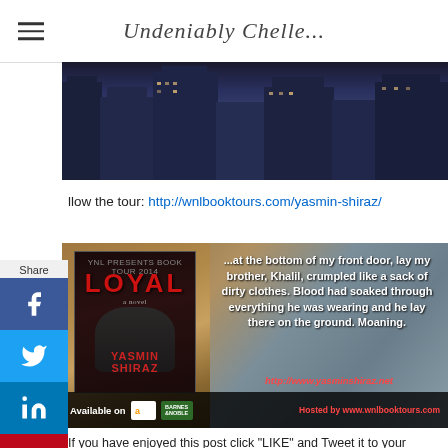Undeniably Chelle...
[Figure (photo): City skyline banner with tall office buildings at dusk]
llow the tour: http://wnlbooktours.com/yasmin-shiraz/
[Figure (photo): Book promo image for 'Loyal' by Yasmin Shiraz with quote: '...at the bottom of my front door, lay my brother, Khalil, crumpled like a sack of dirty clothes. Blood had soaked through everything he was wearing and he lay there on the ground. Moaning.' Available on Amazon and Barnes & Noble. Hosted by www.wnlbooktours.com]
If you have enjoyed this post click "LIKE" and Tweet it to your followers...